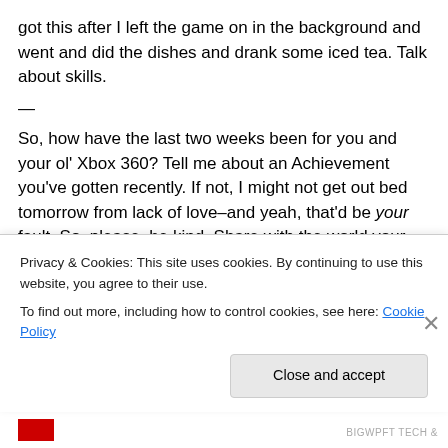got this after I left the game on in the background and went and did the dishes and drank some iced tea. Talk about skills.
—
So, how have the last two weeks been for you and your ol' Xbox 360? Tell me about an Achievement you've gotten recently. If not, I might not get out bed tomorrow from lack of love–and yeah, that'd be your fault. So, please, be kind. Share with the world your victories. I've already done my part.
Privacy & Cookies: This site uses cookies. By continuing to use this website, you agree to their use.
To find out more, including how to control cookies, see here: Cookie Policy
Close and accept